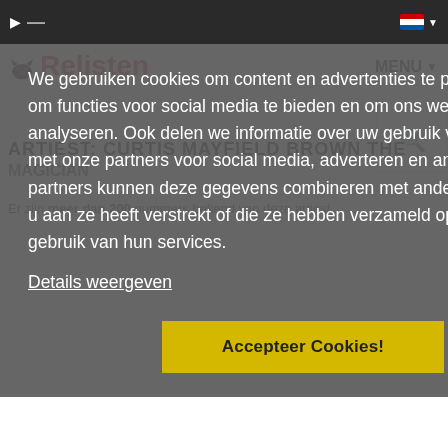Relisten
ARTIEST: CURTIS MAYFIELD BROWN THE MAGICIAN
Er zijn meer dan 200 nummers bekend van deze artiest.
We gebruiken cookies om content en advertenties te personaliseren, om functies voor social media te bieden en om ons websiteverkeer te analyseren. Ook delen we informatie over uw gebruik van onze site met onze partners voor social media, adverteren en analyse. Deze partners kunnen deze gegevens combineren met andere informatie die u aan ze heeft verstrekt of die ze hebben verzameld op basis van uw gebruik van hun services.
Details weergeven
Accepteer Cookies!